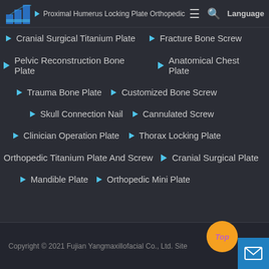[Figure (logo): Blue staircase/building logo icon for Fujian Yangmaxillofacial Co.]
▶ Proximal Humerus Locking Plate Orthopedic
▶ Cranial Surgical Titanium Plate
▶ Fracture Bone Screw
▶ Pelvic Reconstruction Bone Plate
▶ Anatomical Chest Plate
▶ Trauma Bone Plate
▶ Customized Bone Screw
▶ Skull Connection Nail
▶ Cannulated Screw
▶ Clinician Operation Plate
▶ Thorax Locking Plate
▶ Orthopedic Titanium Plate And Screw
▶ Cranial Surgical Plate
▶ Mandible Plate
▶ Orthopedic Mini Plate
Copyright © 2021 Fujian Yangmaxillofacial Co., Ltd. Site...